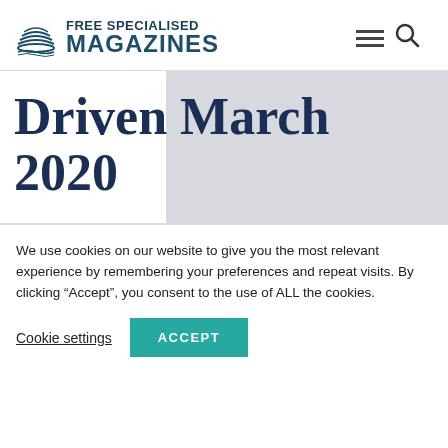[Figure (logo): Free Specialised Magazines logo with stacked books/waves icon and text]
Driven March 2020
We use cookies on our website to give you the most relevant experience by remembering your preferences and repeat visits. By clicking “Accept”, you consent to the use of ALL the cookies.
Cookie settings | ACCEPT